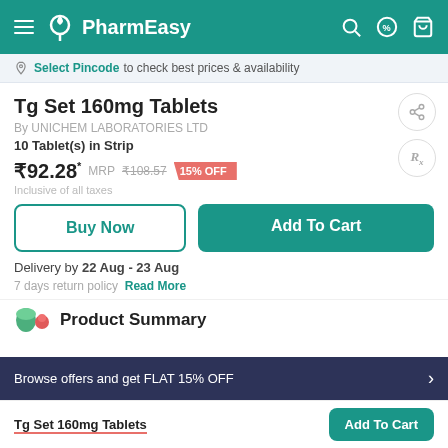PharmEasy
Select Pincode to check best prices & availability
Tg Set 160mg Tablets
By UNICHEM LABORATORIES LTD
10 Tablet(s) in Strip
₹92.28* MRP ₹108.57 15% OFF
Inclusive of all taxes
Buy Now
Add To Cart
Delivery by 22 Aug - 23 Aug
7 days return policy   Read More
Product Summary
Browse offers and get FLAT 15% OFF
Tg Set 160mg Tablets
Add To Cart